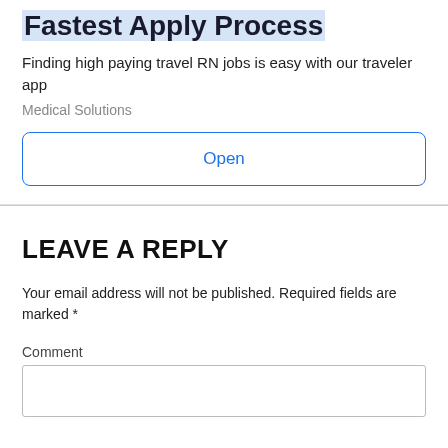Fastest Apply Process
Finding high paying travel RN jobs is easy with our traveler app
Medical Solutions
Open
LEAVE A REPLY
Your email address will not be published. Required fields are marked *
Comment